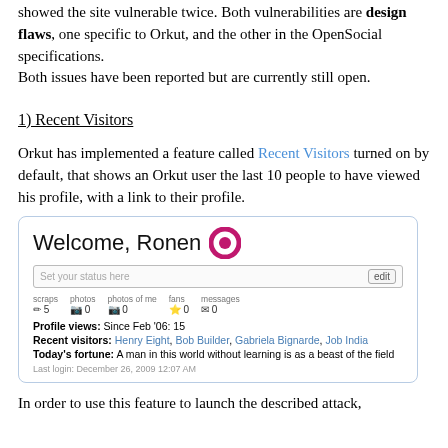showed the site vulnerable twice. Both vulnerabilities are design flaws, one specific to Orkut, and the other in the OpenSocial specifications.
Both issues have been reported but are currently still open.
1) Recent Visitors
Orkut has implemented a feature called Recent Visitors turned on by default, that shows an Orkut user the last 10 people to have viewed his profile, with a link to their profile.
[Figure (screenshot): Screenshot of Orkut profile page showing 'Welcome, Ronen' with Orkut logo, status bar, stats (scraps:5, photos:0, photos of me:0, fans:0, messages:0), Profile views: Since Feb '06: 15, Recent visitors: Henry Eight, Bob Builder, Gabriela Bignarde, Job India, Today's fortune: A man in this world without learning is as a beast of the field, Last login: December 26, 2009 12:07 AM]
In order to use this feature to launch the described attack,